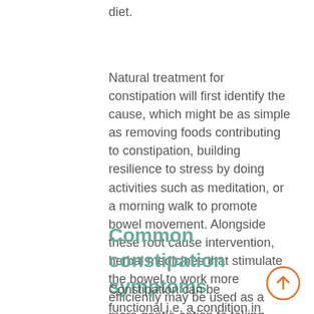diet.
Natural treatment for constipation will first identify the cause, which might be as simple as removing foods contributing to constipation, building resilience to stress by doing activities such as meditation, or a morning walk to promote bowel movement. Alongside these root cause intervention, herbal medicines that stimulate the bowel to work more efficiently may be used as a more gentle option to taking harsh laxatives.
Common constipation symptoms
Constipation can be functional i.e. a condition in its own right, or a symptom of a